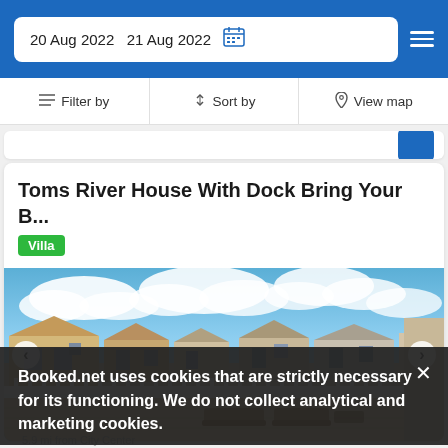20 Aug 2022  21 Aug 2022
Filter by   Sort by   View map
Toms River House With Dock Bring Your B...
Villa
[Figure (photo): Exterior view of a waterfront property with white fence deck, lounge chairs, and neighborhood homes in the background under a partly cloudy sky]
Booked.net uses cookies that are strictly necessary for its functioning. We do not collect analytical and marketing cookies.
5.9 mi from City Center